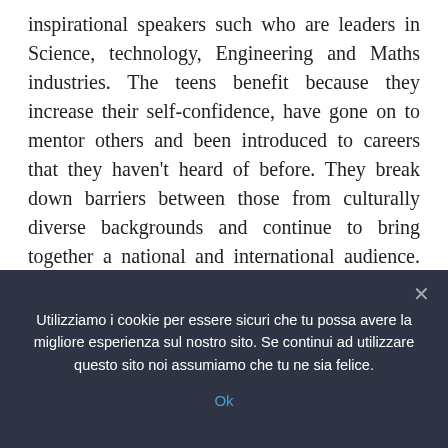inspirational speakers such who are leaders in Science, technology, Engineering and Maths industries. The teens benefit because they increase their self-confidence, have gone on to mentor others and been introduced to careers that they haven't heard of before. They break down barriers between those from culturally diverse backgrounds and continue to bring together a national and international audience. They also introduce teens to social action at an early age to illustrate how they can make a difference in their local and global community. At a recent conference, a young man made a commitment to meet his head teacher and arrange to hold an school assembly on mental health
Utilizziamo i cookie per essere sicuri che tu possa avere la migliore esperienza sul nostro sito. Se continui ad utilizzare questo sito noi assumiamo che tu ne sia felice.
Ok